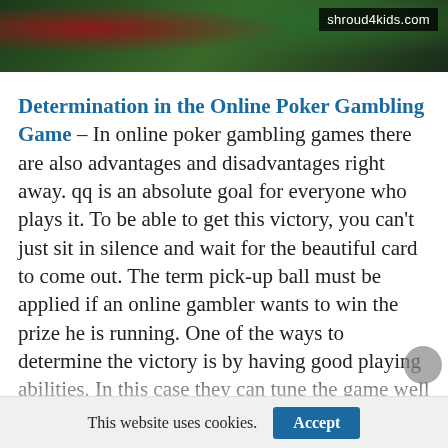[Figure (photo): Top banner photo showing a poker/card game scene with green felt and playing cards, with watermark 'shroud4kids.com' in top right corner]
Determination in the Online Poker Gambling Game – In online poker gambling games there are also advantages and disadvantages right away. qq is an absolute goal for everyone who plays it. To be able to get this victory, you can't just sit in silence and wait for the beautiful card to come out. The term pick-up ball must be applied if an online gambler wants to win the prize he is running. One of the ways to determine the victory is by having good playing abilities. In this case they can tune the game well and combine all aspects perfectly. Such as a calm feeling when playing, good
This website uses cookies.  Accept